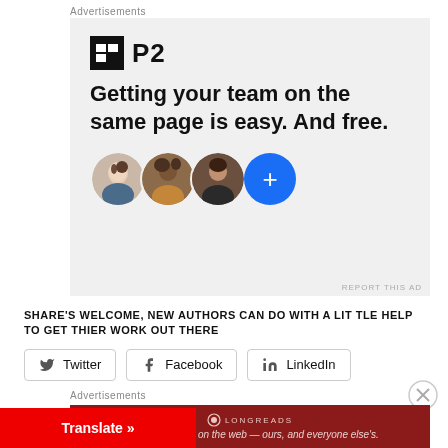Advertisements
[Figure (screenshot): P2 advertisement banner with logo, headline 'Getting your team on the same page is easy. And free.' and three circular avatar photos plus a blue plus button]
REPORT THIS AD
SHARE'S WELCOME, NEW AUTHORS CAN DO WITH A LITTLE HELP TO GET THIER WORK OUT THERE
Twitter
Facebook
LinkedIn
Advertisements
[Figure (screenshot): Longreads advertisement: dark red banner with Longreads logo and tagline 'The best stories on the web — ours, and everyone else's.']
Translate »